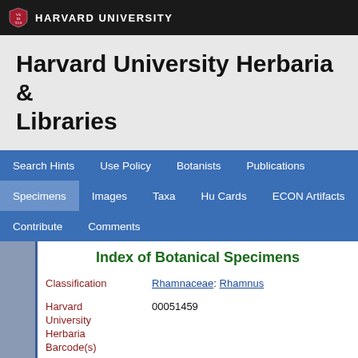HARVARD UNIVERSITY
Harvard University Herbaria & Libraries
Search Hints  Use Policy  Botanists  Publications  Specimens  Images  Taxa  Hu Cards  ECON Artifacts  Contribute  Comments
Index of Botanical Specimens
| Field | Value |
| --- | --- |
| Classification | Rhamnaceae: Rhamnus |
| Harvard University Herbaria Barcode(s) | 00051459 |
| Type Status | Holotype |
| Collector | A. Henry |
| Collector number | 10021 |
| Country | China |